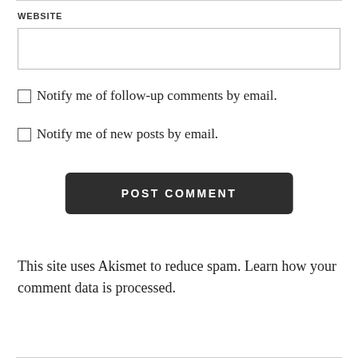WEBSITE
Notify me of follow-up comments by email.
Notify me of new posts by email.
POST COMMENT
This site uses Akismet to reduce spam. Learn how your comment data is processed.